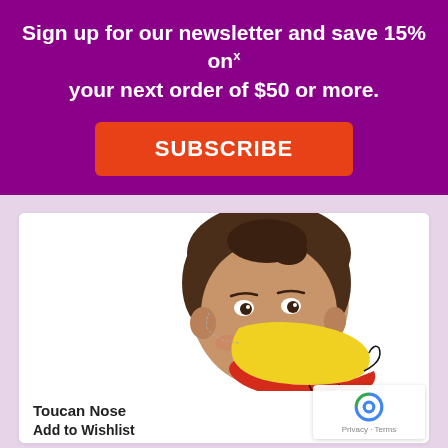Sign up for our newsletter and save 15% on your next order of $50 or more.
SUBSCRIBE
[Figure (photo): Child wearing a toucan beak nose costume piece on a white background]
Toucan Nose
Add to Wishlist